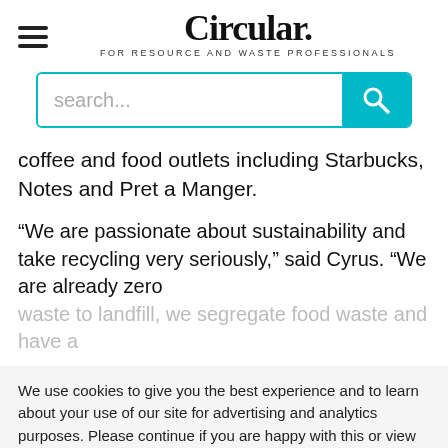Circular. FOR RESOURCE AND WASTE PROFESSIONALS
[Figure (other): Search bar with teal/cyan search button and magnifying glass icon]
coffee and food outlets including Starbucks, Notes and Pret a Manger.
“We are passionate about sustainability and take recycling very seriously,” said Cyrus. “We are already zero waste to landfill, we segregate food waste and have a
We use cookies to give you the best experience and to learn about your use of our site for advertising and analytics purposes. Please continue if you are happy with this or view our Cookie policy to find out more. Change your cookie settings.
Accept